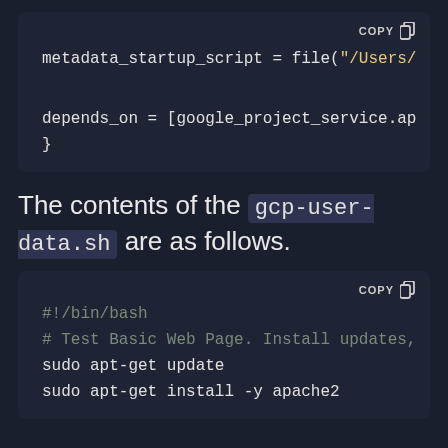[Figure (screenshot): Code block showing Terraform config: metadata_startup_script = file("/Users/... and depends_on = [google_project_service.ap... and closing brace }]
The contents of the gcp-user-data.sh are as follows.
[Figure (screenshot): Code block showing bash script: #!/bin/bash, # Test Basic Web Page. Install updates,, sudo apt-get update, sudo apt-get install -y apache2]